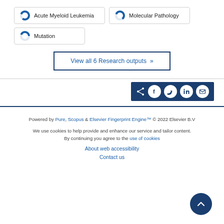Acute Myeloid Leukemia
Molecular Pathology
Mutation
View all 6 Research outputs ›
[Figure (other): Social share bar with icons for share, Facebook, Twitter, LinkedIn, and email]
Powered by Pure, Scopus & Elsevier Fingerprint Engine™ © 2022 Elsevier B.V
We use cookies to help provide and enhance our service and tailor content. By continuing you agree to the use of cookies
About web accessibility
Contact us